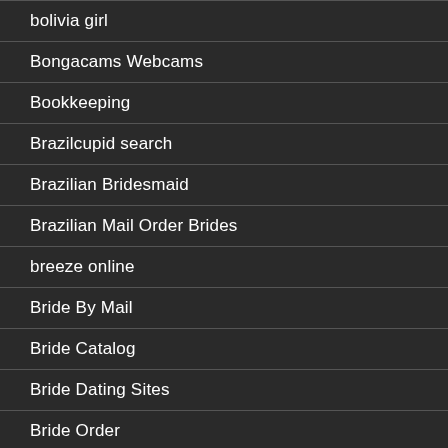bolivia girl
Bongacams Webcams
Bookkeeping
Brazilcupid search
Brazilian Bridesmaid
Brazilian Mail Order Brides
breeze online
Bride By Mail
Bride Catalog
Bride Dating Sites
Bride Order
Bride Order Catalol